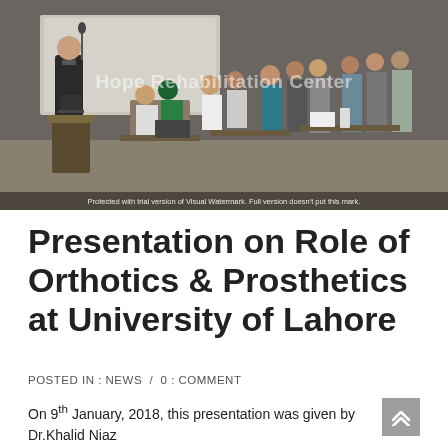[Figure (photo): A man in a suit presenting at a podium to a classroom full of students. Watermark reads 'Hope Rehabilitation Center'. Caption: 'Protected with trial version of Visual Watermark. Full version doesn't put this mark.']
Presentation on Role of Orthotics & Prosthetics at University of Lahore
POSTED IN : NEWS  /  0 : COMMENT
On 9th January, 2018, this presentation was given by Dr.Khalid Niaz